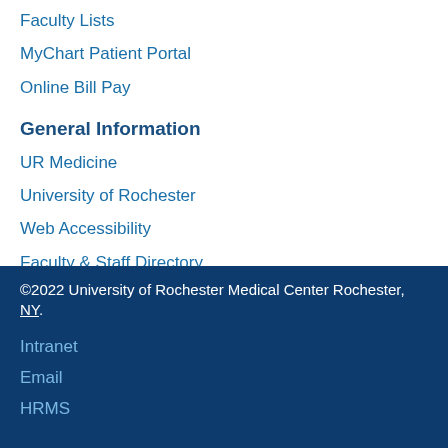Faculty Lists
MyChart Patient Portal
Online Bill Pay
General Information
UR Medicine
University of Rochester
Web Accessibility
Faculty & Staff Directory
Emergency Information
©2022 University of Rochester Medical Center Rochester, NY
Intranet
Email
HRMS